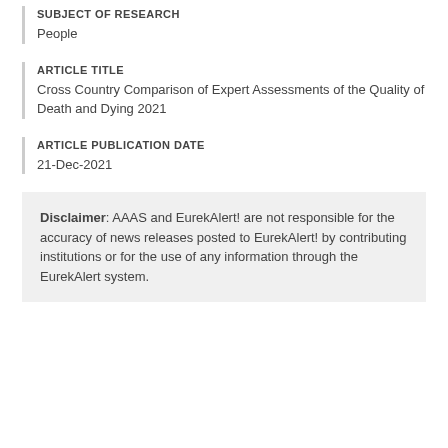SUBJECT OF RESEARCH
People
ARTICLE TITLE
Cross Country Comparison of Expert Assessments of the Quality of Death and Dying 2021
ARTICLE PUBLICATION DATE
21-Dec-2021
Disclaimer: AAAS and EurekAlert! are not responsible for the accuracy of news releases posted to EurekAlert! by contributing institutions or for the use of any information through the EurekAlert system.